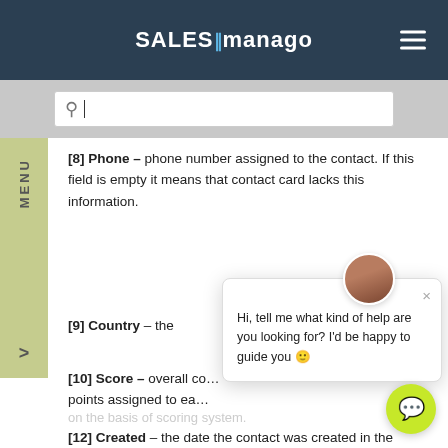SALESmanago
[8] Phone – phone number assigned to the contact. If this field is empty it means that contact card lacks this information.
[9] Country – the
[10] Score – overall co… points assigned to ea…
I give my permission to Benhauer to research my preferences which will facilitate conveying personalized content and improve the functioning of this website. The consent can be withheld at any time by sending an email changing the browser settings.
on the basis of scoring system.
[12] Created – the date the contact was created in the